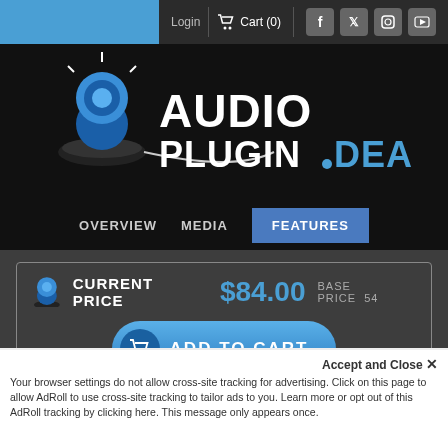Login  Cart (0)
[Figure (logo): AudioPlugin.Deals logo with blue siren icon and white/blue text on black background]
OVERVIEW   MEDIA   FEATURES
CURRENT PRICE  $84.00  BASE PRICE 54
ADD TO CART
HOT DEALS ENDING
SOON
Accept and Close ✕
Your browser settings do not allow cross-site tracking for advertising. Click on this page to allow AdRoll to use cross-site tracking to tailor ads to you. Learn more or opt out of this AdRoll tracking by clicking here. This message only appears once.